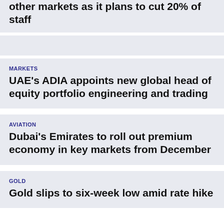other markets as it plans to cut 20% of staff
MARKETS
UAE's ADIA appoints new global head of equity portfolio engineering and trading
AVIATION
Dubai's Emirates to roll out premium economy in key markets from December
GOLD
Gold slips to six-week low amid rate hike